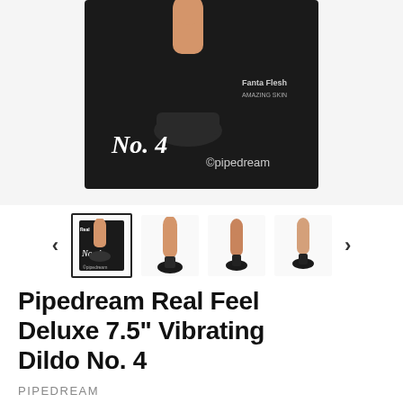[Figure (photo): Product box image showing Pipedream Real Feel Deluxe No. 4 vibrating dildo in black packaging with suction cup base visible at top]
[Figure (photo): Thumbnail gallery row with navigation arrows. First thumbnail selected (product box), followed by three product-only thumbnails showing the dildo from different angles]
Pipedream Real Feel Deluxe 7.5" Vibrating Dildo No. 4
PIPEDREAM
Sold out
Shipping calculated at checkout.